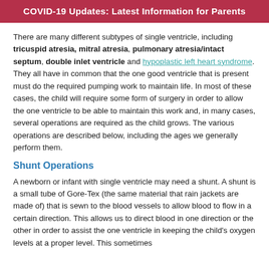COVID-19 Updates: Latest Information for Parents
There are many different subtypes of single ventricle, including tricuspid atresia, mitral atresia, pulmonary atresia/intact septum, double inlet ventricle and hypoplastic left heart syndrome. They all have in common that the one good ventricle that is present must do the required pumping work to maintain life. In most of these cases, the child will require some form of surgery in order to allow the one ventricle to be able to maintain this work and, in many cases, several operations are required as the child grows. The various operations are described below, including the ages we generally perform them.
Shunt Operations
A newborn or infant with single ventricle may need a shunt. A shunt is a small tube of Gore-Tex (the same material that rain jackets are made of) that is sewn to the blood vessels to allow blood to flow in a certain direction. This allows us to direct blood in one direction or the other in order to assist the one ventricle in keeping the child's oxygen levels at a proper level. This sometimes